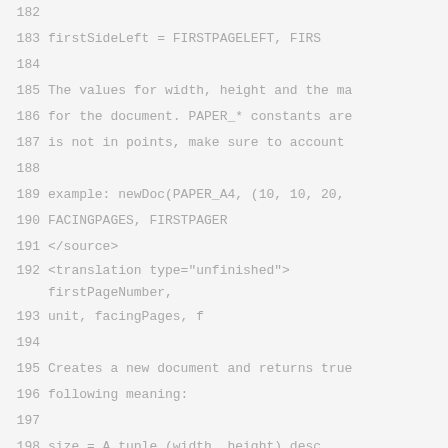182
183     firstSideLeft = FIRSTPAGELEFT, FIRS
184
185 The values for width, height and the ma
186 for the document. PAPER_* constants are
187 is not in points, make sure to account
188
189 example: newDoc(PAPER_A4, (10, 10, 20,
190             FACINGPAGES, FIRSTPAGER
191 </source>
192     <translation type="unfinished"> firstPageNumber,
193             unit, facingPages, f
194
195 Creates a new document and returns true
196 following meaning:
197
198     size = A tuple (width, height) desc
199     use predefined constants named PAPE
200
201     margins = A tuple (left, right, top